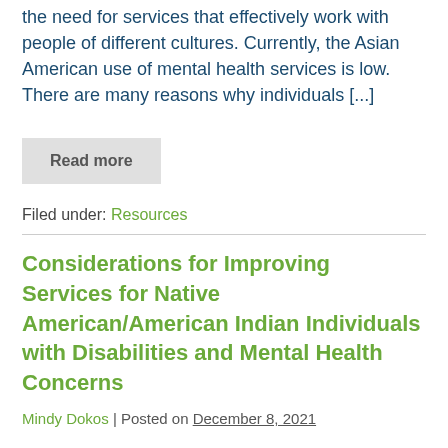the need for services that effectively work with people of different cultures. Currently, the Asian American use of mental health services is low. There are many reasons why individuals [...]
Read more
Filed under: Resources
Considerations for Improving Services for Native American/American Indian Individuals with Disabilities and Mental Health Concerns
Mindy Dokos | Posted on December 8, 2021